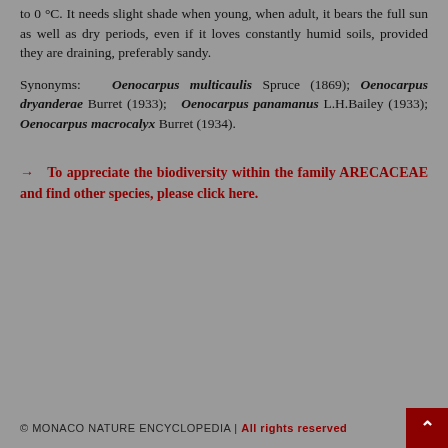to 0 °C. It needs slight shade when young, when adult, it bears the full sun as well as dry periods, even if it loves constantly humid soils, provided they are draining, preferably sandy.
Synonyms: Oenocarpus multicaulis Spruce (1869); Oenocarpus dryanderae Burret (1933); Oenocarpus panamanus L.H.Bailey (1933); Oenocarpus macrocalyx Burret (1934).
→  To appreciate the biodiversity within the family ARECACEAE and find other species, please click here.
© MONACO NATURE ENCYCLOPEDIA | All rights reserved